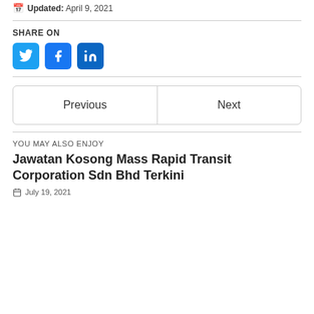Updated: April 9, 2021
SHARE ON
[Figure (other): Social share buttons for Twitter, Facebook, and LinkedIn]
Previous
Next
YOU MAY ALSO ENJOY
Jawatan Kosong Mass Rapid Transit Corporation Sdn Bhd Terkini
July 19, 2021